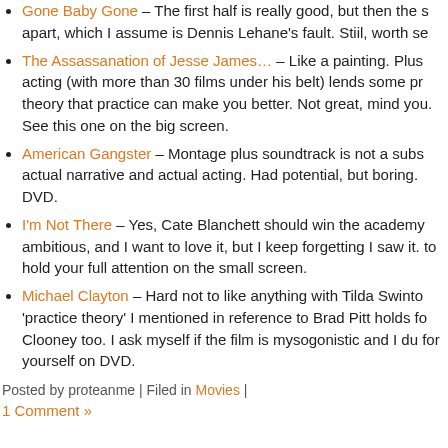Gone Baby Gone – The first half is really good, but then the s apart, which I assume is Dennis Lehane's fault. Stiil, worth se
The Assassanation of Jesse James… – Like a painting. Plus acting (with more than 30 films under his belt) lends some pr theory that practice can make you better. Not great, mind you. See this one on the big screen.
American Gangster – Montage plus soundtrack is not a subs actual narrative and actual acting. Had potential, but boring. DVD.
I'm Not There – Yes, Cate Blanchett should win the academy ambitious, and I want to love it, but I keep forgetting I saw it. to hold your full attention on the small screen.
Michael Clayton – Hard not to like anything with Tilda Swinto 'practice theory' I mentioned in reference to Brad Pitt holds fo Clooney too. I ask myself if the film is mysogonistic and I du for yourself on DVD.
Posted by proteanme | Filed in Movies |
1 Comment »
if we took a holiday